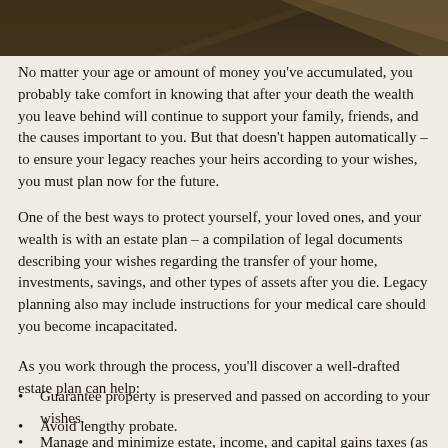[Figure (illustration): Dark brown triangular decorative header shape against a textured dark background at the top of the page]
No matter your age or amount of money you've accumulated, you probably take comfort in knowing that after your death the wealth you leave behind will continue to support your family, friends, and the causes important to you. But that doesn't happen automatically – to ensure your legacy reaches your heirs according to your wishes, you must plan now for the future.
One of the best ways to protect yourself, your loved ones, and your wealth is with an estate plan – a compilation of legal documents describing your wishes regarding the transfer of your home, investments, savings, and other types of assets after you die. Legacy planning also may include instructions for your medical care should you become incapacitated.
As you work through the process, you'll discover a well-drafted estate plan can help:
Guarantee property is preserved and passed on according to your wishes.
Avoid lengthy probate.
Manage and minimize estate, income, and capital gains taxes (as well as other expenses).